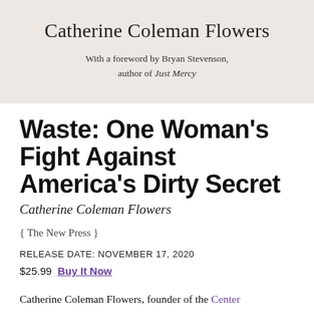[Figure (illustration): Book cover area with beige/tan background showing author name 'Catherine Coleman Flowers' and foreword credit 'With a foreword by Bryan Stevenson, author of Just Mercy']
Waste: One Woman's Fight Against America's Dirty Secret
Catherine Coleman Flowers
{ The New Press }
RELEASE DATE: NOVEMBER 17, 2020
$25.99  Buy It Now
Catherine Coleman Flowers, founder of the Center